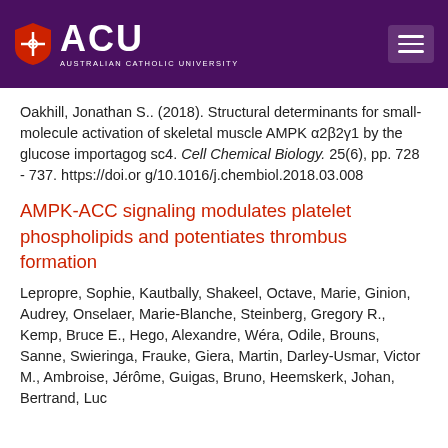[Figure (logo): Australian Catholic University (ACU) logo with shield emblem and hamburger menu on purple background]
Oakhill, Jonathan S.. (2018). Structural determinants for small-molecule activation of skeletal muscle AMPK α2β2γ1 by the glucose importagog sc4. Cell Chemical Biology. 25(6), pp. 728 - 737. https://doi.org/10.1016/j.chembiol.2018.03.008
AMPK-ACC signaling modulates platelet phospholipids and potentiates thrombus formation
Lepropre, Sophie, Kautbally, Shakeel, Octave, Marie, Ginion, Audrey, Onselaer, Marie-Blanche, Steinberg, Gregory R., Kemp, Bruce E., Hego, Alexandre, Wéra, Odile, Brouns, Sanne, Swieringa, Frauke, Giera, Martin, Darley-Usmar, Victor M., Ambroise, Jérôme, Guigas, Bruno, Heemskerk, Johan, Bertrand, Luc